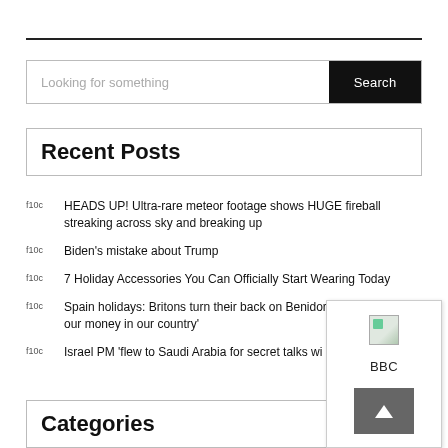[Figure (other): Search bar with placeholder text 'Looking for something' and a black 'Search' button]
Recent Posts
f10c  HEADS UP! Ultra-rare meteor footage shows HUGE fireball streaking across sky and breaking up
f10c  Biden's mistake about Trump
f10c  7 Holiday Accessories You Can Officially Start Wearing Today
f10c  Spain holidays: Britons turn their back on Benidorm – 'keep our money in our country'
f10c  Israel PM 'flew to Saudi Arabia for secret talks wi...
Categories
[Figure (other): Overlay panel with broken image icon, BBC text label, and a grey back-to-top arrow button]